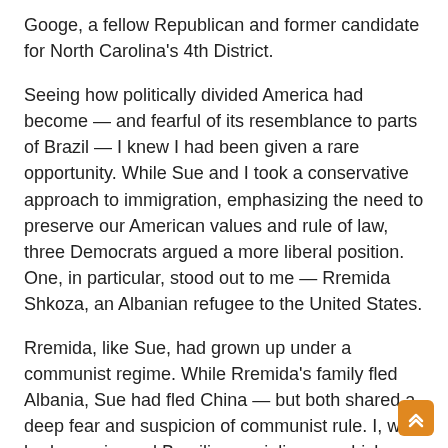Googe, a fellow Republican and former candidate for North Carolina's 4th District.
Seeing how politically divided America had become — and fearful of its resemblance to parts of Brazil — I knew I had been given a rare opportunity. While Sue and I took a conservative approach to immigration, emphasizing the need to preserve our American values and rule of law, three Democrats argued a more liberal position. One, in particular, stood out to me — Rremida Shkoza, an Albanian refugee to the United States.
Rremida, like Sue, had grown up under a communist regime. While Rremida's family fled Albania, Sue had fled China — but both shared a deep fear and suspicion of communist rule. I, who had experienced Brazilian socialism — which bore eerie similarities to communism with its emphasis on dangerously large government — was also skeptical, having experienced a government descent into corruption.